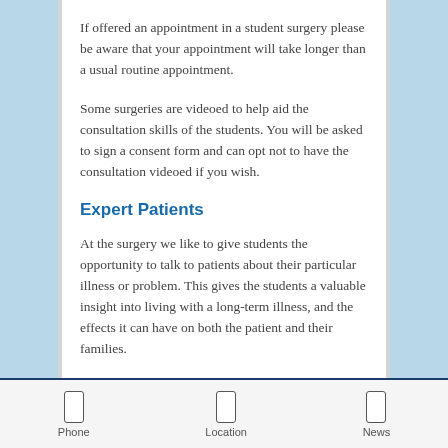If offered an appointment in a student surgery please be aware that your appointment will take longer than a usual routine appointment.
Some surgeries are videoed to help aid the consultation skills of the students. You will be asked to sign a consent form and can opt not to have the consultation videoed if you wish.
Expert Patients
At the surgery we like to give students the opportunity to talk to patients about their particular illness or problem. This gives the students a valuable insight into living with a long-term illness, and the effects it can have on both the patient and their families.
Phone   Location   News